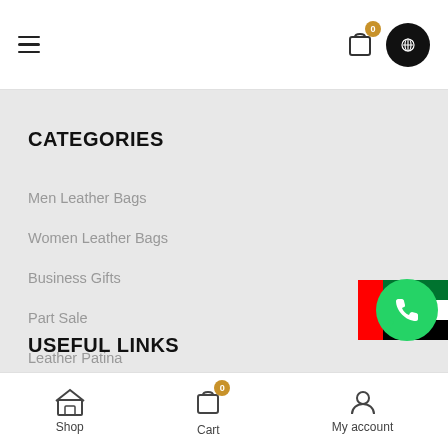Navigation header with hamburger menu, cart icon (0), and phone button
CATEGORIES
Men Leather Bags
Women Leather Bags
Business Gifts
Part Sale
Leather Patina
[Figure (illustration): UAE flag partially visible on right side]
[Figure (logo): WhatsApp green circle button]
USEFUL LINKS
Bottom navigation bar with Shop, Cart (0), My account